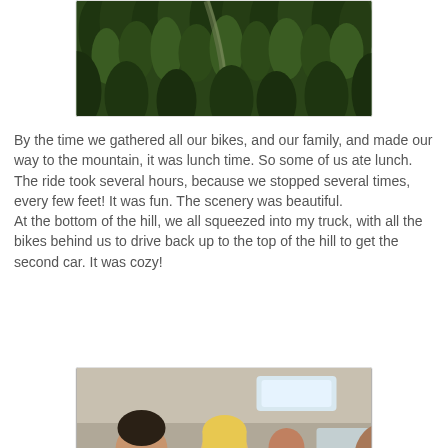[Figure (photo): Aerial or elevated view of a dense evergreen forest (pine/fir trees) covering a hillside or mountain slope, with a narrow path or trail visible through the trees.]
By the time we gathered all our bikes, and our family, and made our way to the mountain, it was lunch time. So some of us ate lunch. The ride took several hours, because we stopped several times, every few feet! It was fun. The scenery was beautiful.
At the bottom of the hill, we all squeezed into my truck, with all the bikes behind us to drive back up to the top of the hill to get the second car. It was cozy!
[Figure (photo): Interior of a vehicle (truck/van) packed with several people — a young man on the left, a blonde woman smiling, another person partially visible, a man in a grey t-shirt in the center, and a young man on the right. The interior ceiling and windows of the vehicle are visible above them.]